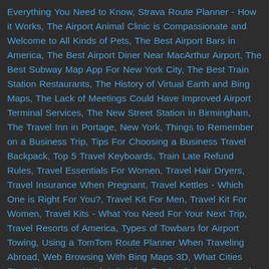Everything You Need to Know, Strava Route Planner - How it Works, The Airport Animal Clinic is Compassionate and Welcome to All Kinds of Pets, The Best Airport Bars in America, The Best Airport Diner Near MacArthur Airport, The Best Subway Map App For New York City, The Best Train Station Restaurants, The History of Virtual Earth and Bing Maps, The Lack of Meetings Could Have Improved Airport Terminal Services, The New Street Station in Birmingham, The Travel Inn in Portage, New York, Things to Remember on a Business Trip, Tips For Choosing a Business Travel Backpack, Top 5 Travel Keyboards, Train Late Refund Rules, Travel Essentials For Women, Travel Hair Dryers, Travel Insurance When Pregnant, Travel Kettles - Which One is Right For You?, Travel Kit For Men, Travel Kit For Women, Travel Kits - What You Need For Your Next Trip, Travel Resorts of America, Types of Towbars for Airport Towing, Using a TomTom Route Planner When Traveling Abroad, Web Browsing With Bing Maps 3D, What Cities Does Citymapper Work In?, What Do the Colors on Google Maps Mean?, What Features Should a Travel Organizer Have?, What is Blippar App?, What is Mapbox used for?, What is Mapbox?, What is Raw Data on Google Maps?, What Speed Does Google Maps Use For Biking?, What Speed Does Google Maps Use For Driving Directions?, What to Look for in a Business Travel Hotel, What's the Difference Between Citymapper and Citymapper Transit?, When Was...